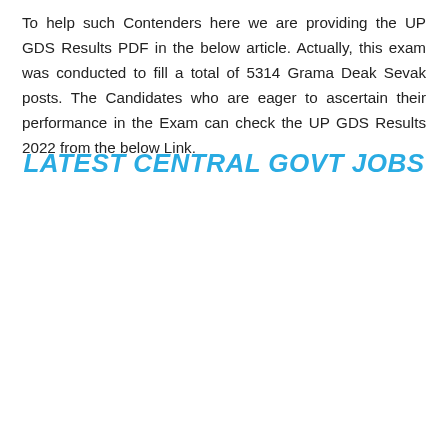To help such Contenders here we are providing the UP GDS Results PDF in the below article. Actually, this exam was conducted to fill a total of 5314 Grama Deak Sevak posts. The Candidates who are eager to ascertain their performance in the Exam can check the UP GDS Results 2022 from the below Link.
LATEST CENTRAL GOVT JOBS